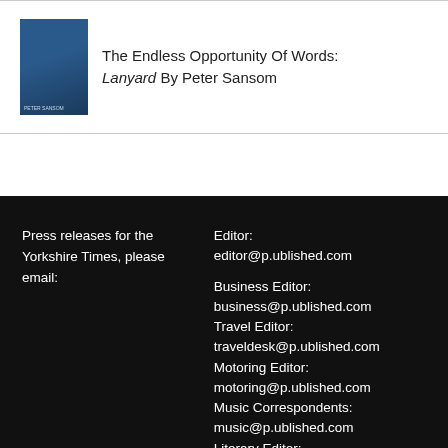[Figure (illustration): Book cover for Lanyard by Peter Sansom — dark blue toned cover image]
The Endless Opportunity Of Words: Lanyard By Peter Sansom
Press releases for the Yorkshire Times, please email:
Editor:
editor@p.ublished.com
Business Editor: business@p.ublished.com
Travel Editor: traveldesk@p.ublished.com
Motoring Editor: motoring@p.ublished.com
Music Correspondents: music@p.ublished.com
Literary Editor: books@p.ublished.com